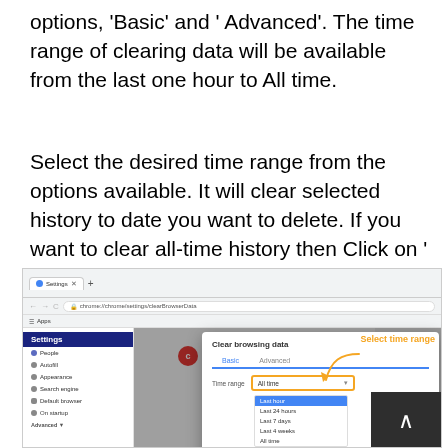options, 'Basic' and ' Advanced'. The time range of clearing data will be available from the last one hour to All time.
Select the desired time range from the options available. It will clear selected history to date you want to delete. If you want to clear all-time history then Click on ' All Time'.
[Figure (screenshot): Screenshot of Google Chrome browser showing the Settings page with the 'Clear browsing data' dialog open. The dialog shows 'Basic' and 'Advanced' tabs, a 'Time range' dropdown set to 'All time', with a dropdown list showing options: Last hour (highlighted in blue), Last 24 hours, Last 7 days, Last 4 weeks, All time. An orange annotation arrow points to the dropdown with the label 'Select time range' in orange text. A dark button with an upward arrow is visible in the bottom-right corner.]